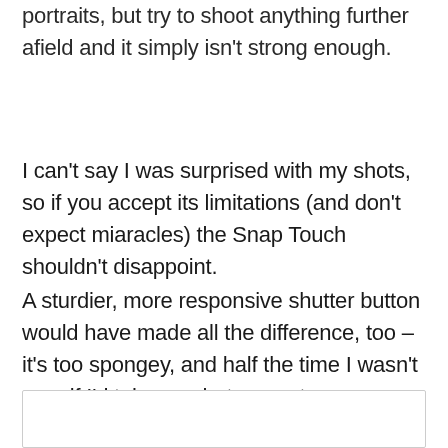…the flash gets torn. The flash is strong enough for portraits, but try to shoot anything further afield and it simply isn't strong enough.
I can't say I was surprised with my shots, so if you accept its limitations (and don't expect miaracles) the Snap Touch shouldn't disappoint.
A sturdier, more responsive shutter button would have made all the difference, too – it's too spongey, and half the time I wasn't sure if I'd taken a photo or not.
[Figure (other): Empty white box with light gray border at bottom of page]